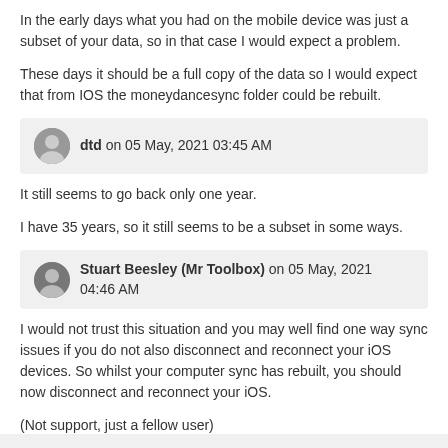In the early days what you had on the mobile device was just a subset of your data, so in that case I would expect a problem.
These days it should be a full copy of the data so I would expect that from IOS the moneydancesync folder could be rebuilt.
dtd on 05 May, 2021 03:45 AM
It still seems to go back only one year.
I have 35 years, so it still seems to be a subset in some ways.
Stuart Beesley (Mr Toolbox) on 05 May, 2021 04:46 AM
I would not trust this situation and you may well find one way sync issues if you do not also disconnect and reconnect your iOS devices. So whilst your computer sync has rebuilt, you should now disconnect and reconnect your iOS.
(Not support, just a fellow user)